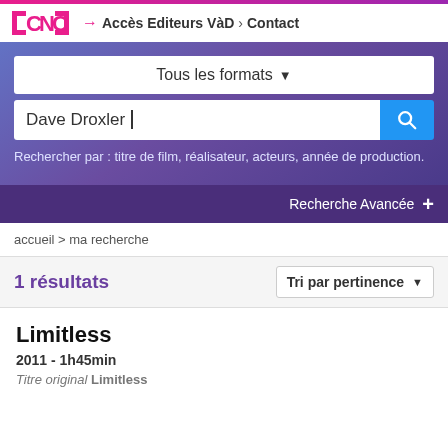CNC → Accès Editeurs VàD › Contact
Tous les formats ▼
Dave Droxler
Rechercher par : titre de film, réalisateur, acteurs, année de production.
Recherche Avancée +
accueil > ma recherche
1 résultats
Tri par pertinence
Limitless
2011 - 1h45min
Titre original Limitless